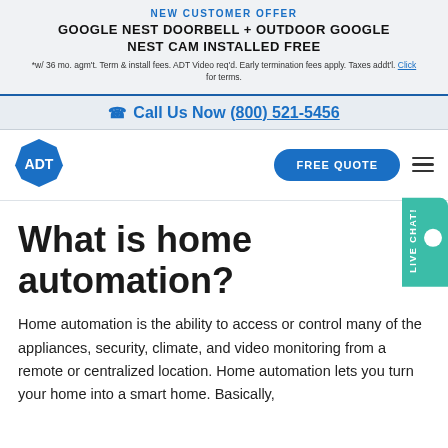NEW CUSTOMER OFFER
GOOGLE NEST DOORBELL + OUTDOOR GOOGLE NEST CAM INSTALLED FREE
*w/ 36 mo. agm't. Term & install fees. ADT Video req'd. Early termination fees apply. Taxes addt'l. Click for terms.
Call Us Now (800) 521-5456
[Figure (logo): ADT logo — blue octagon with white ADT text]
FREE QUOTE
What is home automation?
Home automation is the ability to access or control many of the appliances, security, climate, and video monitoring from a remote or centralized location. Home automation lets you turn your home into a smart home. Basically,